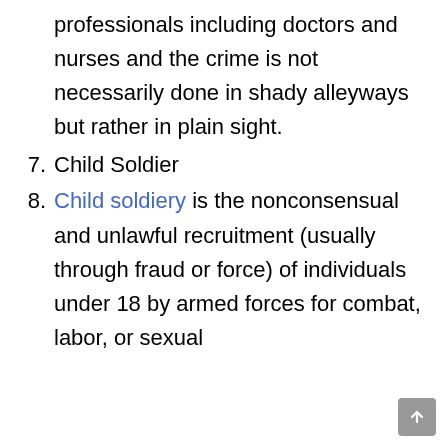professionals including doctors and nurses and the crime is not necessarily done in shady alleyways but rather in plain sight.
7. Child Soldier
8. Child soldiery is the nonconsensual and unlawful recruitment (usually through fraud or force) of individuals under 18 by armed forces for combat, labor, or sexual